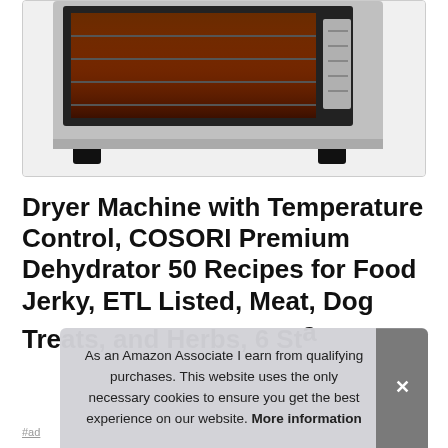[Figure (photo): Partial view of a COSORI food dehydrator machine, showing the stainless steel body with rack visible inside through the door, on a white/gray background with a border.]
Dryer Machine with Temperature Control, COSORI Premium Dehydrator 50 Recipes for Food Jerky, ETL Listed, Meat, Dog Treats, and Herbs, 6 Sta...
#ad
As an Amazon Associate I earn from qualifying purchases. This website uses the only necessary cookies to ensure you get the best experience on our website. More information